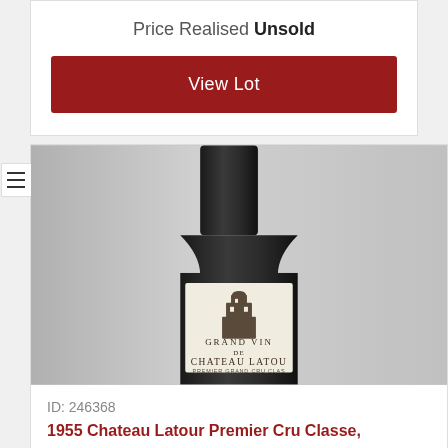Price Realised Unsold
View Lot
[Figure (photo): A wine bottle of Grand Vin de Chateau Latour Premier Grand Cru Classe photographed against a grey background, showing the label with tower logo.]
ID: 246368
1955 Chateau Latour Premier Cru Classe,